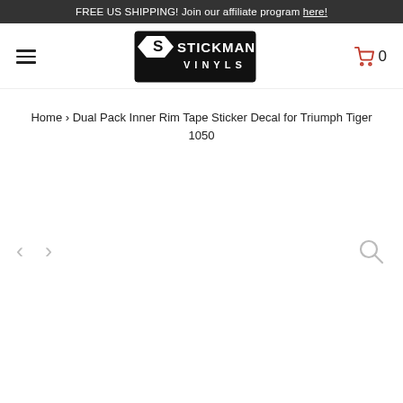FREE US SHIPPING! Join our affiliate program here!
[Figure (logo): Stickman Vinyls logo - black and white logo with stylized S and text STICKMAN VINYLS]
Home › Dual Pack Inner Rim Tape Sticker Decal for Triumph Tiger 1050
[Figure (other): Product image viewer area with left/right navigation arrows and zoom icon, image area is blank/white]